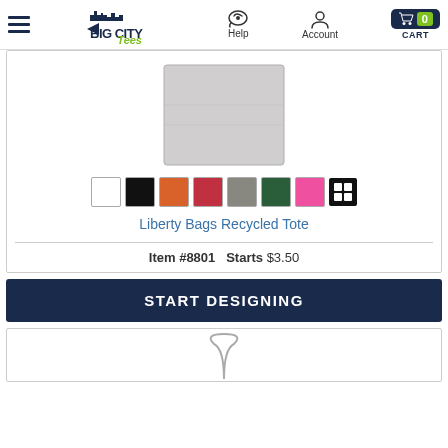Big City Tees — Help | Account | CART 0
[Figure (photo): Light gray tote bag product photo on white background]
[Figure (other): Color swatches: white, black, orange, red, gray, dark green, pink, all-colors grid]
Liberty Bags Recycled Tote
Item #8801   Starts $3.50
Start Designing
[Figure (photo): Partial view of another product (hanger/ring) at bottom of page]